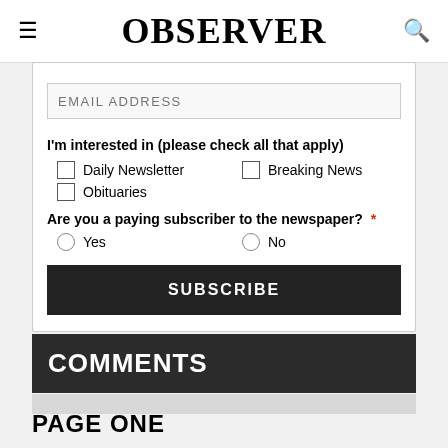OBSERVER
EMAIL ADDRESS
I'm interested in (please check all that apply)
Daily Newsletter
Breaking News
Obituaries
Are you a paying subscriber to the newspaper? *
Yes
No
SUBSCRIBE
COMMENTS
PAGE ONE